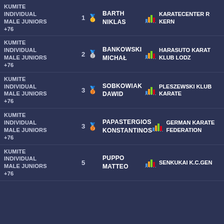| Category | Rank | Name | Club |
| --- | --- | --- | --- |
| KUMITE INDIVIDUAL MALE JUNIORS +76 | 1 🥇 | BARTH NIKLAS | KARATECENTER R KERN |
| KUMITE INDIVIDUAL MALE JUNIORS +76 | 2 🥈 | BANKOWSKI MICHAŁ | HARASUTO KARAT KLUB LODZ |
| KUMITE INDIVIDUAL MALE JUNIORS +76 | 3 🥉 | SOBKOWIAK DAWID | PLESZEWSKI KLUB KARATE |
| KUMITE INDIVIDUAL MALE JUNIORS +76 | 3 🥉 | PAPASTERGIOS KONSTANTINOS | GERMAN KARATE FEDERATION |
| KUMITE INDIVIDUAL MALE JUNIORS +76 | 5 | PUPPO MATTEO | SENKUKAI K.C.GEN |